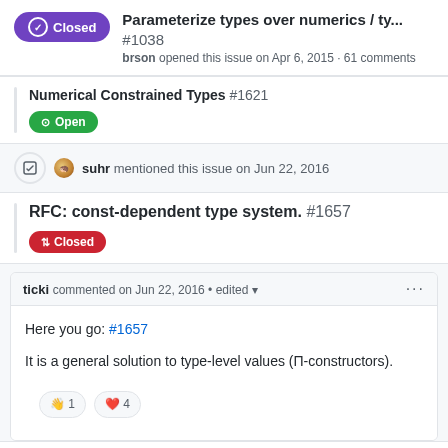Parameterize types over numerics / ty... #1038
brson opened this issue on Apr 6, 2015 · 61 comments
Numerical Constrained Types #1621
Open
suhr mentioned this issue on Jun 22, 2016
RFC: const-dependent type system. #1657
Closed
ticki commented on Jun 22, 2016 • edited
Here you go: #1657

It is a general solution to type-level values (Π-constructors).